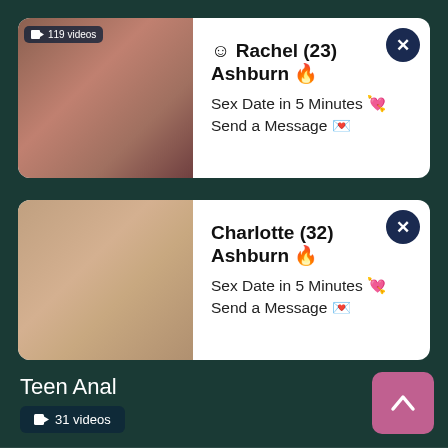[Figure (photo): Ad card 1: Rachel (23) Ashburn with thumbnail image]
☺ Rachel (23) Ashburn 🔥
Sex Date in 5 Minutes 💘 Send a Message 💌
[Figure (photo): Ad card 2: Charlotte (32) Ashburn with thumbnail image]
Charlotte (32) Ashburn 🔥
Sex Date in 5 Minutes 💘 Send a Message 💌
Teen Anal
📹 31 videos
Teen Big Boobs
📹 12 videos
Teen Big Tits